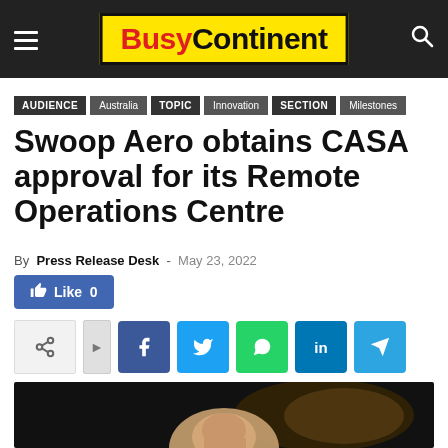BusyContinent
AUDIENCE | Australia | TOPIC | Innovation | SECTION | Milestones
Swoop Aero obtains CASA approval for its Remote Operations Centre
By Press Release Desk - May 23, 2022
Like 0
[Figure (other): Share buttons: share icon, Facebook, Twitter, WhatsApp, LinkedIn, Telegram]
[Figure (photo): Partial photo of a man, dimly lit with bokeh background]